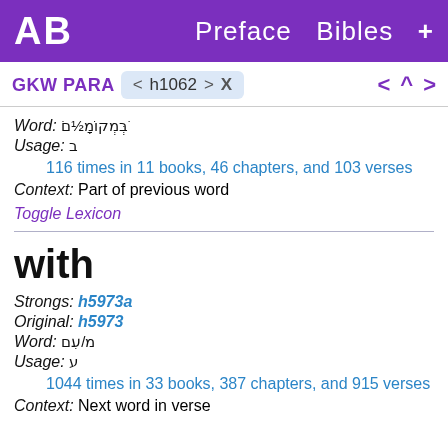AB  Preface  Bibles  +
GKW PARA  < h1062 >  X    <  ^  >
Word: בְּׁמְקוֹמָֽםׂ
Usage: ב
116 times in 11 books, 46 chapters, and 103 verses
Context:   Part of previous word
Toggle Lexicon
with
Strongs:  h5973a
Original:  h5973
Word:  מ/עִם
Usage: ע
1044 times in 33 books, 387 chapters, and 915 verses
Context:  Next word in verse